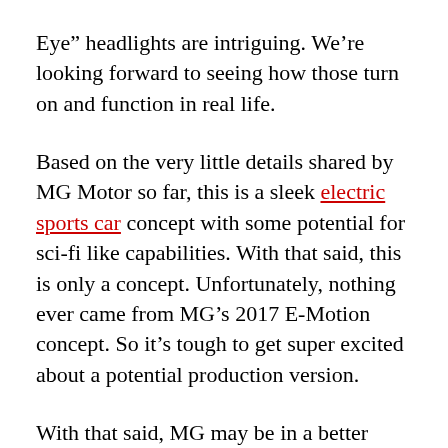Eye” headlights are intriguing. We’re looking forward to seeing how those turn on and function in real life.
Based on the very little details shared by MG Motor so far, this is a sleek electric sports car concept with some potential for sci-fi like capabilities. With that said, this is only a concept. Unfortunately, nothing ever came from MG’s 2017 E-Motion concept. So it’s tough to get super excited about a potential production version.
With that said, MG may be in a better place financially and structurally now as it continues to expand in China, and other parts of the world. There are rumors that MG is pondering crowdfunding to get the Cyberster concept into